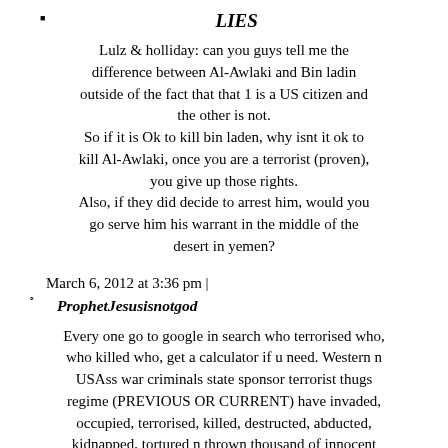LIES
Lulz & holliday: can you guys tell me the difference between Al-Awlaki and Bin ladin outside of the fact that that 1 is a US citizen and the other is not.
So if it is Ok to kill bin laden, why isnt it ok to kill Al-Awlaki, once you are a terrorist (proven), you give up those rights.
Also, if they did decide to arrest him, would you go serve him his warrant in the middle of the desert in yemen?
March 6, 2012 at 3:36 pm | ProphetJesusisnotgod
Every one go to google in search who terrorised who, who killed who, get a calculator if u need. Western n USAss war criminals state sponsor terrorist thugs regime (PREVIOUS OR CURRENT) have invaded, occupied, terrorised, killed, destructed, abducted, kidnapped, tortured n thrown thousand of innocent defenders of their beloved n sovereign lands. More than hundreds of thousand in IRAQ n same amount of in AFGHANISTAN n PAKISTAN plus proxy wars in PALESTINE, LEBANON, IRAN...